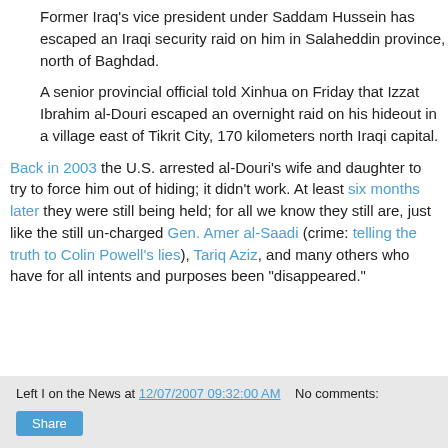Former Iraq's vice president under Saddam Hussein has escaped an Iraqi security raid on him in Salaheddin province, north of Baghdad.
A senior provincial official told Xinhua on Friday that Izzat Ibrahim al-Douri escaped an overnight raid on his hideout in a village east of Tikrit City, 170 kilometers north Iraqi capital.
Back in 2003 the U.S. arrested al-Douri's wife and daughter to try to force him out of hiding; it didn't work. At least six months later they were still being held; for all we know they still are, just like the still un-charged Gen. Amer al-Saadi (crime: telling the truth to Colin Powell's lies), Tariq Aziz, and many others who have for all intents and purposes been "disappeared."
Left I on the News at 12/07/2007 09:32:00 AM   No comments:   Share